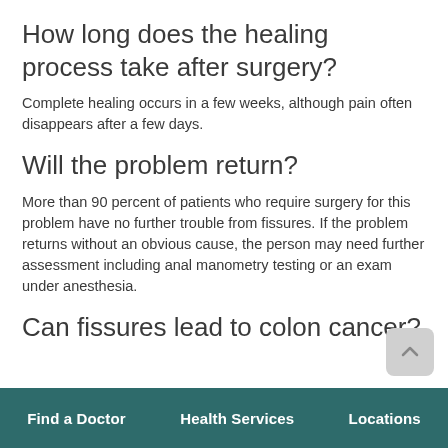How long does the healing process take after surgery?
Complete healing occurs in a few weeks, although pain often disappears after a few days.
Will the problem return?
More than 90 percent of patients who require surgery for this problem have no further trouble from fissures. If the problem returns without an obvious cause, the person may need further assessment including anal manometry testing or an exam under anesthesia.
Can fissures lead to colon cancer?
Find a Doctor   Health Services   Locations